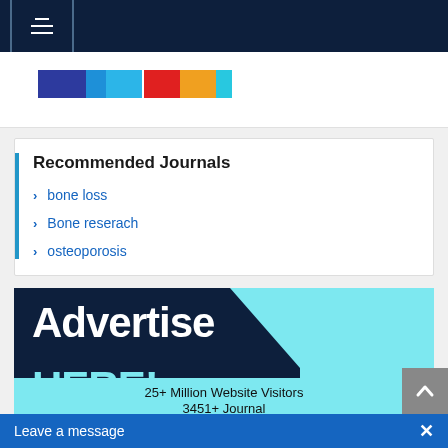Navigation bar
[Figure (screenshot): Colored bar strip with multiple colored sections: dark blue, light blue, cyan, red, orange, teal]
Recommended Journals
bone loss
Bone reserach
osteoporosis
[Figure (infographic): Advertise HERE! banner on dark navy background with cyan triangle accent]
25+ Million Website Visitors
3451+ Journal